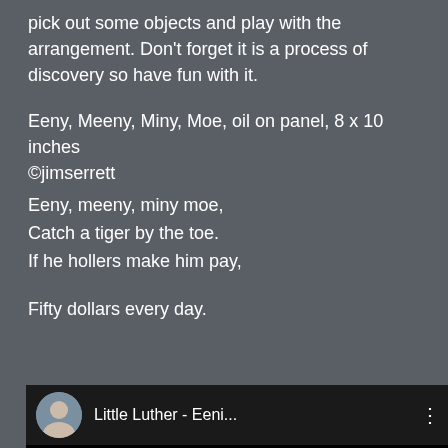pick out some objects and play with the arrangement. Don't forget it is a process of discovery so have fun with it.
Eeny, Meeny, Miny, Moe, oil on panel, 8 x 10 inches
©jimserrett
Eeny, meeny, miny moe,
Catch a tiger by the toe.
If he hollers make him pay,

Fifty dollars every day.
[Figure (screenshot): YouTube video thumbnail showing a vinyl record with Checker label, titled 'Little Luther - Eeni...' with a red play button overlay and a small circular avatar in the top-left corner]